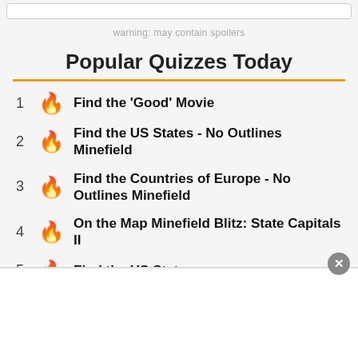warning: may contain spoilers
Popular Quizzes Today
1 Find the 'Good' Movie
2 Find the US States - No Outlines Minefield
3 Find the Countries of Europe - No Outlines Minefield
4 On the Map Minefield Blitz: State Capitals II
5 Find the US States